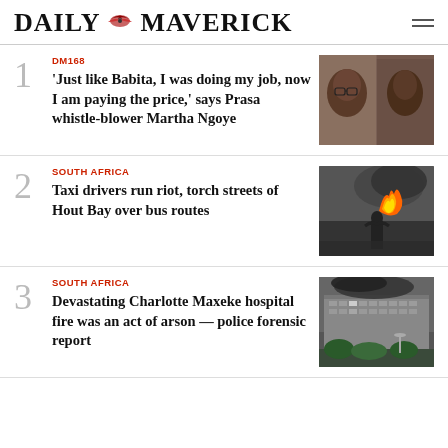DAILY MAVERICK
DM168
‘Just like Babita, I was doing my job, now I am paying the price,’ says Prasa whistle-blower Martha Ngoye
[Figure (photo): Photo of Martha Ngoye, a woman with glasses, close-up portrait]
SOUTH AFRICA
Taxi drivers run riot, torch streets of Hout Bay over bus routes
[Figure (photo): Photo of a person carrying something through smoke and flames in a street riot]
SOUTH AFRICA
Devastating Charlotte Maxeke hospital fire was an act of arson — police forensic report
[Figure (photo): Aerial photo of Charlotte Maxeke hospital with smoke and fire damage visible]